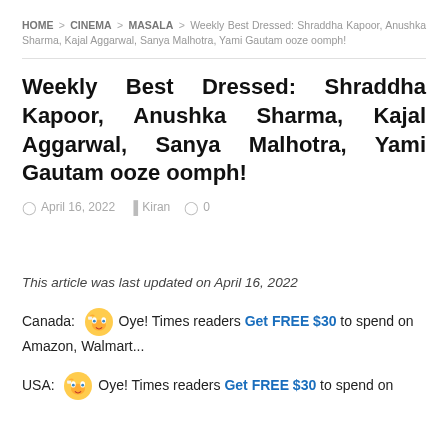HOME > CINEMA > MASALA > Weekly Best Dressed: Shraddha Kapoor, Anushka Sharma, Kajal Aggarwal, Sanya Malhotra, Yami Gautam ooze oomph!
Weekly Best Dressed: Shraddha Kapoor, Anushka Sharma, Kajal Aggarwal, Sanya Malhotra, Yami Gautam ooze oomph!
April 16, 2022  Kiran  0
This article was last updated on April 16, 2022
Canada: 🤗 Oye! Times readers Get FREE $30 to spend on Amazon, Walmart...
USA: 🤗 Oye! Times readers Get FREE $30 to spend on